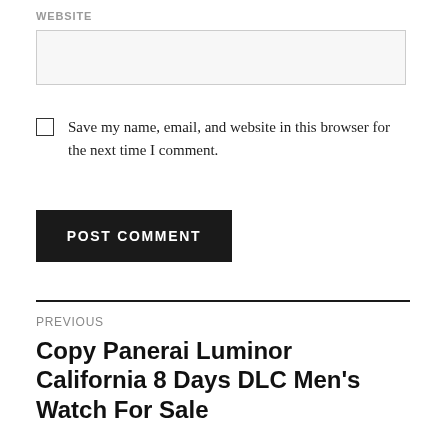WEBSITE
Save my name, email, and website in this browser for the next time I comment.
POST COMMENT
PREVIOUS
Copy Panerai Luminor California 8 Days DLC Men's Watch For Sale